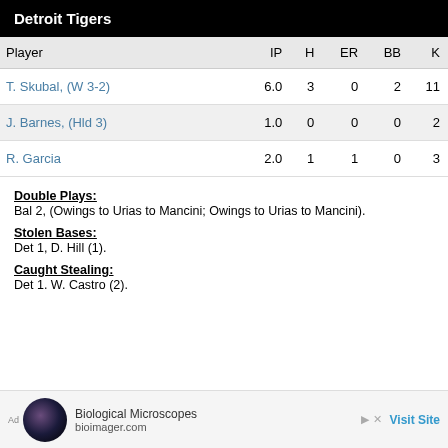Detroit Tigers
| Player | IP | H | ER | BB | K |
| --- | --- | --- | --- | --- | --- |
| T. Skubal, (W 3-2) | 6.0 | 3 | 0 | 2 | 11 |
| J. Barnes, (Hld 3) | 1.0 | 0 | 0 | 0 | 2 |
| R. Garcia | 2.0 | 1 | 1 | 0 | 3 |
Double Plays: Bal 2, (Owings to Urias to Mancini; Owings to Urias to Mancini).
Stolen Bases: Det 1, D. Hill (1).
Caught Stealing: Det 1. W. Castro (2).